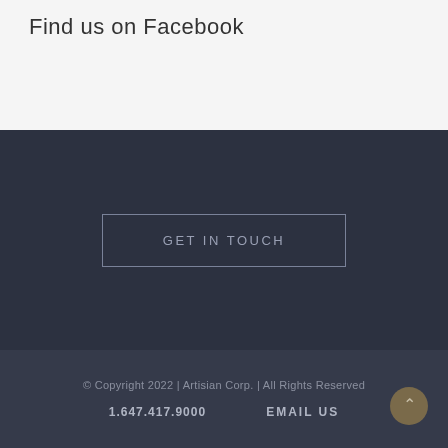Find us on Facebook
GET IN TOUCH
© Copyright 2022 | Artisian Corp. | All Rights Reserved
1.647.417.9000
EMAIL US